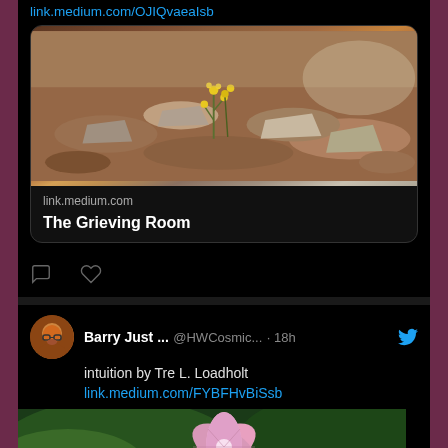link.medium.com/OJIQvaeaIsb
[Figure (photo): Article card with photo of small yellow flowers growing through rocky terrain, with link.medium.com source and title 'The Grieving Room']
link.medium.com
The Grieving Room
Barry Just ... @HWCosmic... · 18h
intuition by Tre L. Loadholt
link.medium.com/FYBFHvBiSsb
[Figure (photo): Close-up photo of pink lily or clematis flower with green leaves in the background]